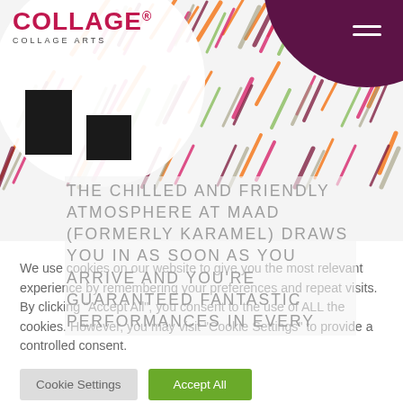[Figure (screenshot): Website header with Collage Arts logo, decorative diagonal stripes in multiple colors (orange, pink, dark red, gray, green), white circle background behind logo, purple circle top right, hamburger menu icon, two black artwork thumbnails]
THE CHILLED AND FRIENDLY ATMOSPHERE AT MAAD (FORMERLY KARAMEL) DRAWS YOU IN AS SOON AS YOU ARRIVE AND YOU'RE GUARANTEED FANTASTIC PERFORMANCES IN EVERY
We use cookies on our website to give you the most relevant experience by remembering your preferences and repeat visits. By clicking "Accept All", you consent to the use of ALL the cookies. However, you may visit "Cookie Settings" to provide a controlled consent.
Cookie Settings
Accept All